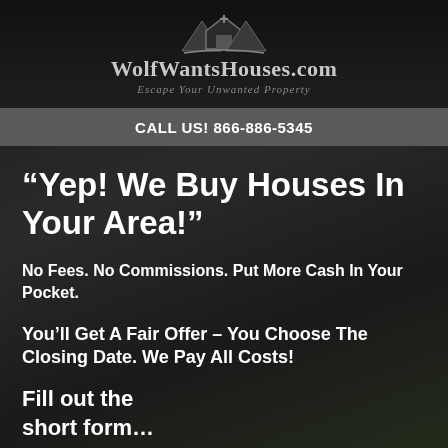[Figure (logo): WolfWantsHouses.com logo with house/arrow icon above the text and tagline 'Escape Your Unwanted Property']
CALL US! 866-886-5345
“Yep! We Buy Houses In Your Area!”
No Fees. No Commissions. Put More Cash In Your Pocket.
You’ll Get A Fair Offer – You Choose The Closing Date. We Pay All Costs!
Fill out the short form…